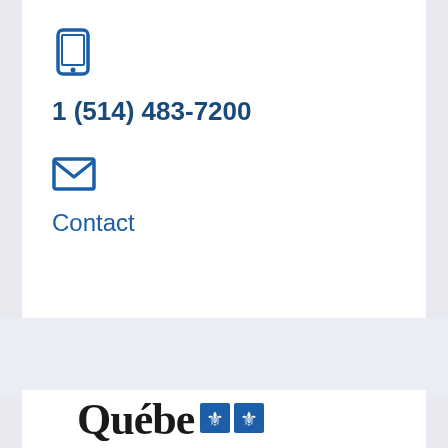[Figure (infographic): Blue smartphone/mobile phone icon]
1 (514) 483-7200
[Figure (infographic): Blue envelope/mail icon]
Contact
[Figure (logo): Québec government logo with fleur-de-lis symbols]